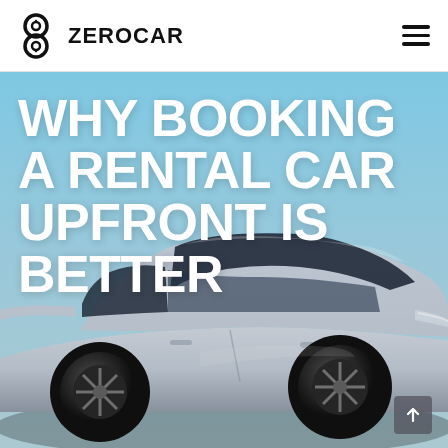ZEROCAR
[Figure (photo): Hero image of a silver/white Tesla-style electric vehicle photographed from the side, with a blue sky background. The car occupies the lower portion of the image.]
WHY BOOKING A RENTAL CAR UPFRONT IS BETTER